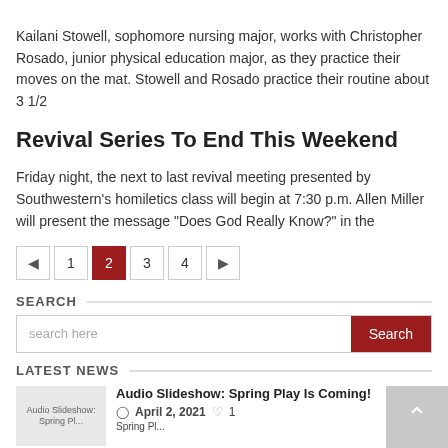Kailani Stowell, sophomore nursing major, works with Christopher Rosado, junior physical education major, as they practice their moves on the mat. Stowell and Rosado practice their routine about 3 1/2
Revival Series To End This Weekend
Friday night, the next to last revival meeting presented by Southwestern’s homiletics class will begin at 7:30 p.m. Allen Miller will present the message “Does God Really Know?” in the
Pagination: ◄ 1 2 3 4 ► (page 2 active)
SEARCH
search here
LATEST NEWS
Audio Slideshow: Spring Play Is Coming!
April 2, 2021  1